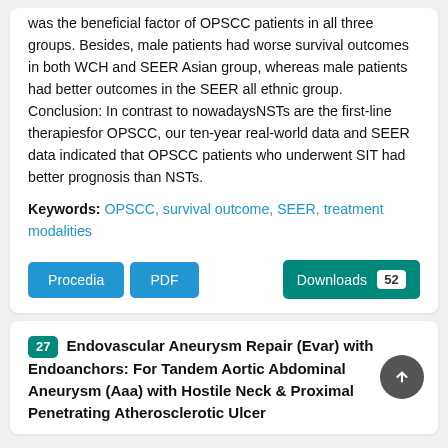was the beneficial factor of OPSCC patients in all three groups. Besides, male patients had worse survival outcomes in both WCH and SEER Asian group, whereas male patients had better outcomes in the SEER all ethnic group. Conclusion: In contrast to nowadaysNSTs are the first-line therapiesfor OPSCC, our ten-year real-world data and SEER data indicated that OPSCC patients who underwent SIT had better prognosis than NSTs.
Keywords: OPSCC, survival outcome, SEER, treatment modalities
Procedia  PDF  Downloads 52
27 Endovascular Aneurysm Repair (Evar) with Endoanchors: For Tandem Aortic Abdominal Aneurysm (Aaa) with Hostile Neck & Proximal Penetrating Atherosclerotic Ulcer